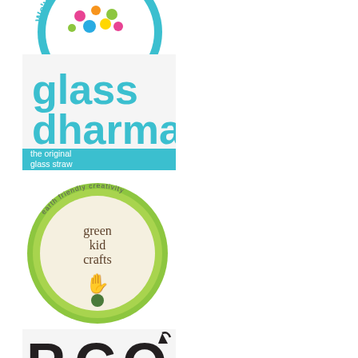[Figure (logo): Circular teal badge logo with text 'We've Got You Covered' and colorful beads/crafts imagery in center]
[Figure (logo): Glass Dharma logo: teal text 'glass dharma' with teal rectangle banner reading 'the original glass straw']
[Figure (logo): Green Kid Crafts logo: circular green badge with cream center, handprint icon, text 'green kid crafts' and 'earth friendly creativity' around edge]
[Figure (logo): PCO logo: stylized dark letters P, C, O with arrow/recycling symbol elements, partially visible at bottom]